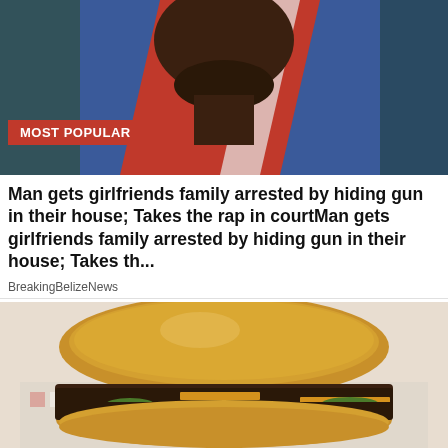[Figure (photo): Photo of a man wearing a blue and red jacket, face partially visible from nose down, with a beard]
MOST POPULAR
Man gets girlfriends family arrested by hiding gun in their house; Takes the rap in courtMan gets girlfriends family arrested by hiding gun in their house; Takes th...
BreakingBelizeNews
[Figure (photo): Photo of a double cheeseburger with melted cheese and pickles, sitting on fast food wrapper paper]